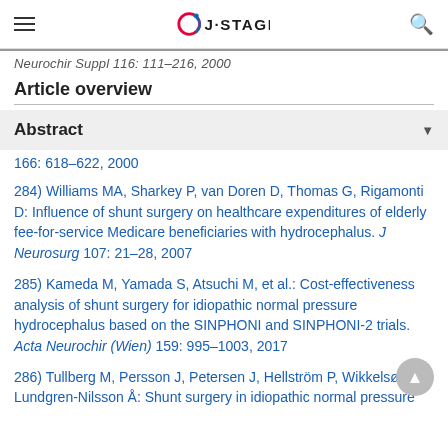J-STAGE
Neurochir Suppl 116: 111–216, 2000
Article overview
Abstract
166: 618–622, 2000
284) Williams MA, Sharkey P, van Doren D, Thomas G, Rigamonti D: Influence of shunt surgery on healthcare expenditures of elderly fee-for-service Medicare beneficiaries with hydrocephalus. J Neurosurg 107: 21–28, 2007
285) Kameda M, Yamada S, Atsuchi M, et al.: Cost-effectiveness analysis of shunt surgery for idiopathic normal pressure hydrocephalus based on the SINPHONI and SINPHONI-2 trials. Acta Neurochir (Wien) 159: 995–1003, 2017
286) Tullberg M, Persson J, Petersen J, Hellström P, Wikkelsø C, Lundgren-Nilsson Å: Shunt surgery in idiopathic normal pressure